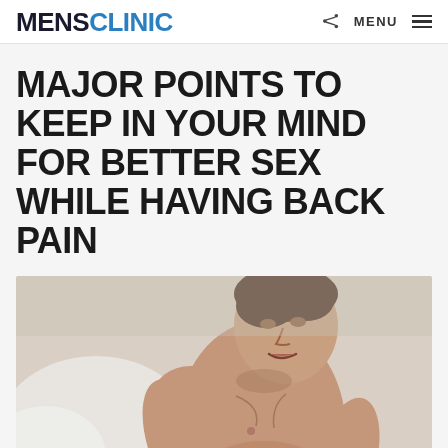MENSCLINIC  MENU
MAJOR POINTS TO KEEP IN YOUR MIND FOR BETTER SEX WHILE HAVING BACK PAIN
[Figure (photo): Shirtless man in pain holding his lower back/abdomen, sitting on a bed with white sheets, grimacing expression]